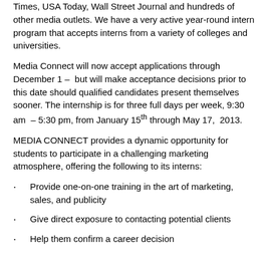Times, USA Today, Wall Street Journal and hundreds of other media outlets. We have a very active year-round intern program that accepts interns from a variety of colleges and universities.
Media Connect will now accept applications through December 1 – but will make acceptance decisions prior to this date should qualified candidates present themselves sooner. The internship is for three full days per week, 9:30 am – 5:30 pm, from January 15th through May 17, 2013.
MEDIA CONNECT provides a dynamic opportunity for students to participate in a challenging marketing atmosphere, offering the following to its interns:
Provide one-on-one training in the art of marketing, sales, and publicity
Give direct exposure to contacting potential clients
Help them confirm a career decision